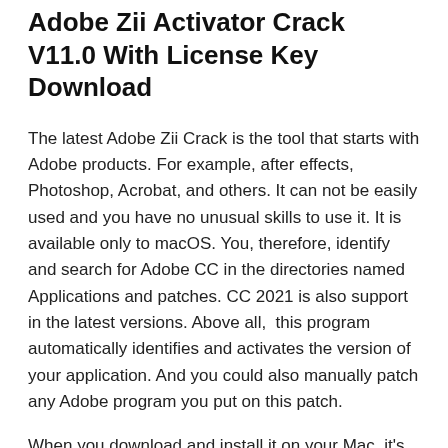Adobe Zii Activator Crack V11.0 With License Key Download
The latest Adobe Zii Crack is the tool that starts with Adobe products. For example, after effects, Photoshop, Acrobat, and others. It can not be easily used and you have no unusual skills to use it. It is available only to macOS. You, therefore, identify and search for Adobe CC in the directories named Applications and patches. CC 2021 is also support in the latest versions. Above all,  this program automatically identifies and activates the version of your application. And you could also manually patch any Adobe program you put on this patch.
When you download and install it on your Mac, it's simple and fast. Besides this, it offers also a powerful process of patching that makes the goods quick and easy to do. There is a license key to each Adobe product, but an adobe company does not require authorization. The software of